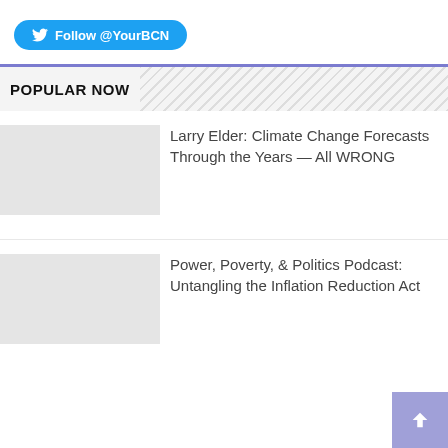[Figure (other): Twitter follow button with bird icon, text: Follow @YourBCN, blue rounded pill button]
POPULAR NOW
Larry Elder: Climate Change Forecasts Through the Years — All WRONG
Power, Poverty, & Politics Podcast: Untangling the Inflation Reduction Act